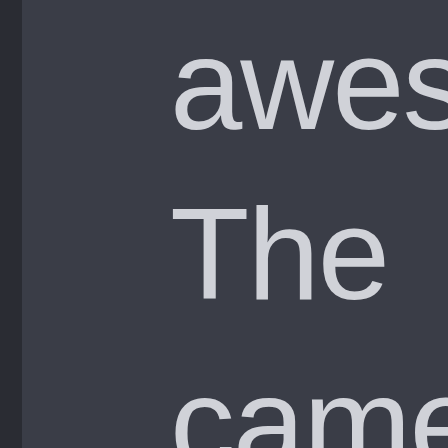[Figure (screenshot): Dark gray background with large light-colored sans-serif text showing partial words: 'awes', 'The', 'came', and a partial character at the bottom. Left edge has a darker vertical strip. Text is cropped on the right side.]